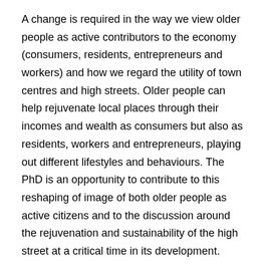A change is required in the way we view older people as active contributors to the economy (consumers, residents, entrepreneurs and workers) and how we regard the utility of town centres and high streets. Older people can help rejuvenate local places through their incomes and wealth as consumers but also as residents, workers and entrepreneurs, playing out different lifestyles and behaviours. The PhD is an opportunity to contribute to this reshaping of image of both older people as active citizens and to the discussion around the rejuvenation and sustainability of the high street at a critical time in its development.
Eligibility and availability
The successful candidate will have:
A honours level qualification (preferably 2.1) in...